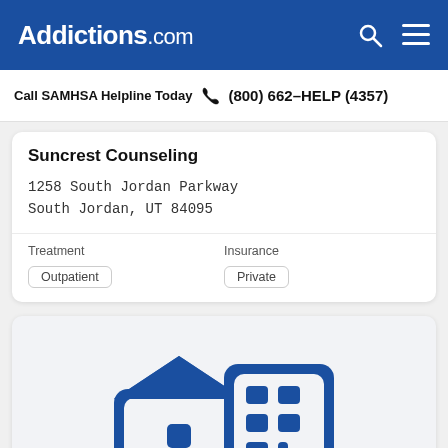Addictions.com
Call SAMHSA Helpline Today (800) 662-HELP (4357)
Suncrest Counseling
1258 South Jordan Parkway
South Jordan, UT 84095
Treatment
Outpatient
Insurance
Private
[Figure (illustration): Icon of a house and a building/office structure in dark blue, representing a treatment facility or rehab center.]